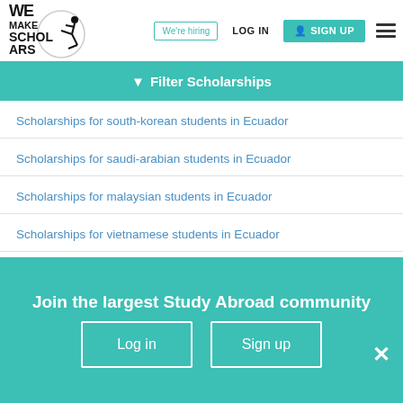We Make Scholars — We're hiring | LOG IN | SIGN UP
Filter Scholarships
Scholarships for south-korean students in Ecuador
Scholarships for saudi-arabian students in Ecuador
Scholarships for malaysian students in Ecuador
Scholarships for vietnamese students in Ecuador
Scholarships for iranian students in Ecuador
Join the largest Study Abroad community
Log in | Sign up